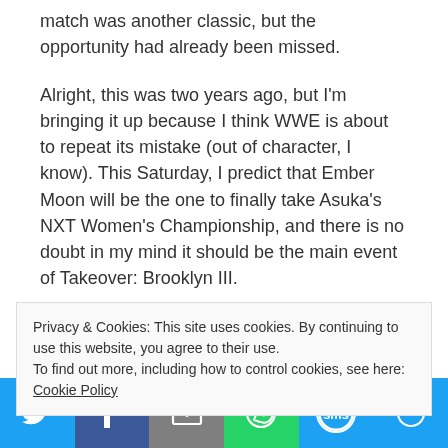match was another classic, but the opportunity had already been missed.
Alright, this was two years ago, but I'm bringing it up because I think WWE is about to repeat its mistake (out of character, I know). This Saturday, I predict that Ember Moon will be the one to finally take Asuka's NXT Women's Championship, and there is no doubt in my mind it should be the main event of Takeover: Brooklyn III.
It's not exactly fair to compare Asuka to the
Privacy & Cookies: This site uses cookies. By continuing to use this website, you agree to their use.
To find out more, including how to control cookies, see here: Cookie Policy
[Figure (infographic): Social share bar with Twitter, Facebook, Email, WhatsApp, SMS, and More buttons]